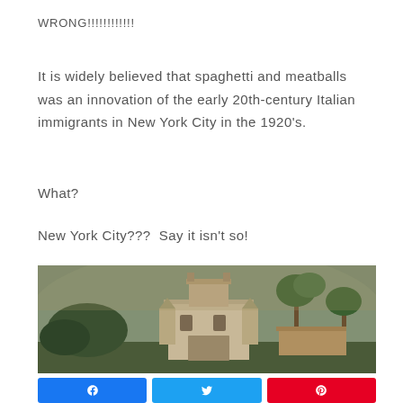WRONG!!!!!!!!!!!
It is widely believed that spaghetti and meatballs was an innovation of the early 20th-century Italian immigrants in New York City in the 1920's.
What?
New York City???  Say it isn't so!
[Figure (photo): Photograph of an old Italian-style stone building with towers, surrounded by palm trees and lush greenery, with mountains in the background. Warm, moody tones.]
[Figure (infographic): Social sharing buttons: Facebook (blue), Twitter (light blue), Pinterest (red)]